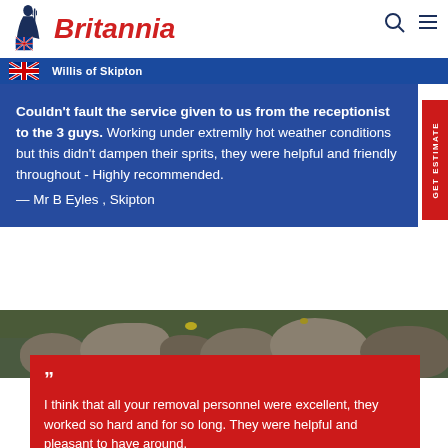Britannia Willis of Skipton
Couldn't fault the service given to us from the receptionist to the 3 guys. Working under extremlly hot weather conditions but this didn't dampen their sprits, they were helpful and friendly throughout - Highly recommended. — Mr B Eyles , Skipton
[Figure (photo): Rocky stone wall landscape with grass and stones in muted green/grey tones]
I think that all your removal personnel were excellent, they worked so hard and for so long. They were helpful and pleasant to have around.